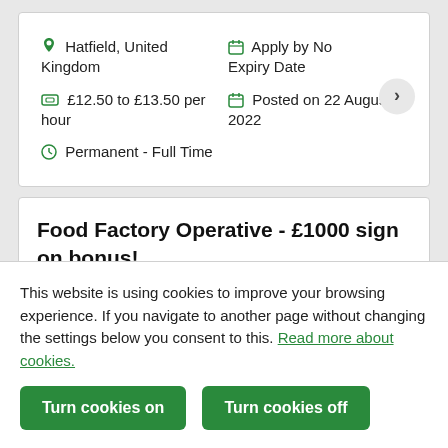Hatfield, United Kingdom
Apply by No Expiry Date
£12.50 to £13.50 per hour
Posted on 22 August, 2022
Permanent - Full Time
Food Factory Operative - £1000 sign on bonus!
This website is using cookies to improve your browsing experience. If you navigate to another page without changing the settings below you consent to this. Read more about cookies.
Turn cookies on
Turn cookies off